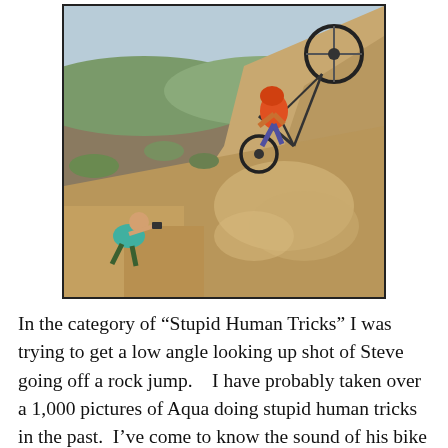[Figure (photo): Action photo of a mountain biker going over a large rock jump, bike tilted with rear wheel in the air. Dusty, dry rocky hillside terrain with scrubby vegetation and a valley in the background. A second person (photographer/spectator) is crouched low on the rock in the lower left, appearing to film or photograph the action.]
In the category of “Stupid Human Tricks” I was trying to get a low angle looking up shot of Steve going off a rock jump.    I have probably taken over a 1,000 pictures of Aqua doing stupid human tricks in the past.  I’ve come to know the sound of his bike coming in as